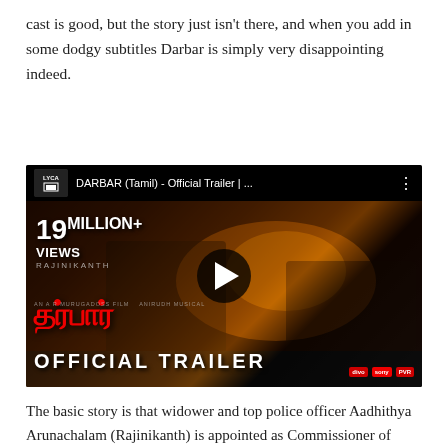cast is good, but the story just isn't there, and when you add in some dodgy subtitles Darbar is simply very disappointing indeed.
[Figure (screenshot): YouTube video thumbnail for DARBAR (Tamil) - Official Trailer with LYCA Productions logo, showing 19 MILLION+ VIEWS, Tamil script title, action movie poster imagery, play button, and OFFICIAL TRAILER text at bottom.]
The basic story is that widower and top police officer Aadhithya Arunachalam (Rajinikanth) is appointed as Commissioner of Police in Mumbai and sent to clean up the city. Why Mumbai? I couldn't see any reason why this wasn't set in Chennai, unless it was fear that people wouldn't like